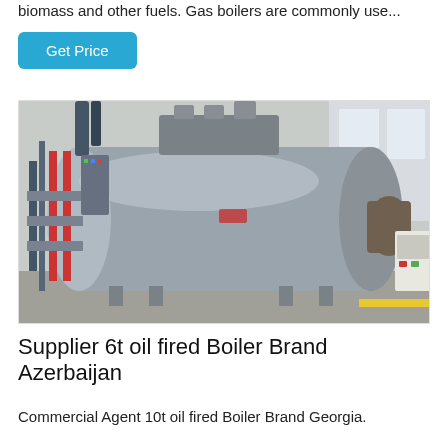biomass and other fuels. Gas boilers are commonly use...
Get Price
[Figure (photo): Industrial oil-fired boiler unit installed in a factory setting, showing a large horizontal cylindrical pressure vessel with pipes, fittings, burner assembly, and control panel.]
Supplier 6t oil fired Boiler Brand Azerbaijan
Commercial Agent 10t oil fired Boiler Brand Georgia.